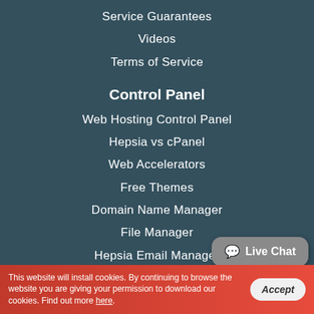Service Guarantees
Videos
Terms of Service
Control Panel
Web Hosting Control Panel
Hepsia vs cPanel
Web Accelerators
Free Themes
Domain Name Manager
File Manager
Hepsia Email Manager
Stats Manager
Databases Manager
Site Creating Instrument
Website Installer
This website will install cookies. By continuing to browse the website you are giving your permission to download our cookies. Find out more here.